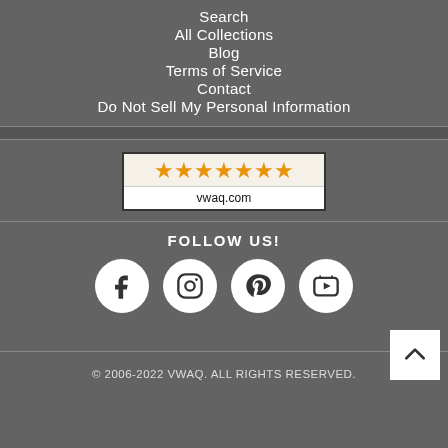Search
All Collections
Blog
Terms of Service
Contact
Do Not Sell My Personal Information
[Figure (other): Rating badge showing 7 orange stars and the website URL vwaq.com]
FOLLOW US!
[Figure (other): Social media icons: Facebook, Instagram, Pinterest, YouTube in white circles]
© 2006-2022 VWAQ. ALL RIGHTS RESERVED.